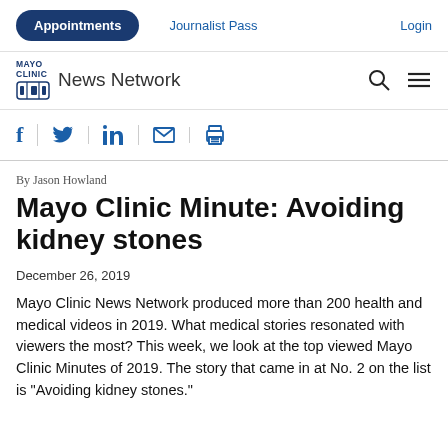Appointments | Journalist Pass | Login
[Figure (logo): Mayo Clinic News Network logo with shield emblem and search/menu icons]
[Figure (infographic): Social sharing icons: Facebook, Twitter, LinkedIn, Email, Print]
By Jason Howland
Mayo Clinic Minute: Avoiding kidney stones
December 26, 2019
Mayo Clinic News Network produced more than 200 health and medical videos in 2019. What medical stories resonated with viewers the most? This week, we look at the top viewed Mayo Clinic Minutes of 2019. The story that came in at No. 2 on the list is "Avoiding kidney stones."